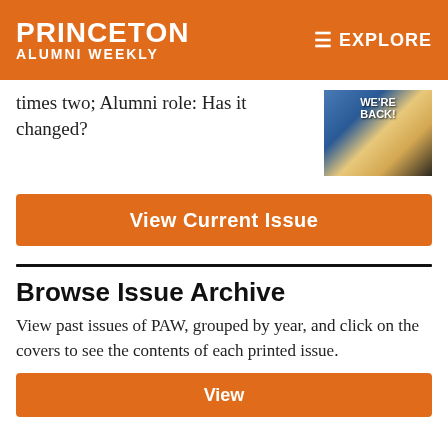PRINCETON ALUMNI WEEKLY | EXPLORE
times two; Alumni role: Has it changed?
[Figure (photo): Magazine cover showing people with text 'WE'RE BACK!']
View Current Issue
Browse Issue Archive
View past issues of PAW, grouped by year, and click on the covers to see the contents of each printed issue.
View